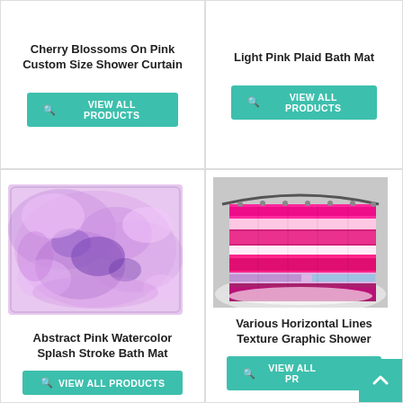Cherry Blossoms On Pink Custom Size Shower Curtain
VIEW ALL PRODUCTS
Light Pink Plaid Bath Mat
VIEW ALL PRODUCTS
[Figure (photo): Abstract pink and purple watercolor splash pattern on a bath mat]
Abstract Pink Watercolor Splash Stroke Bath Mat
VIEW ALL PRODUCTS
[Figure (photo): Colorful horizontal lines texture graphic shower curtain hanging in a bathtub setting]
Various Horizontal Lines Texture Graphic Shower
VIEW ALL PR…